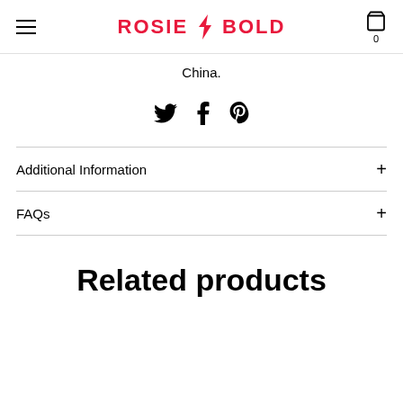ROSIE BOLD
China.
[Figure (other): Social share icons: Twitter bird, Facebook f, Pinterest p]
Additional Information +
FAQs +
Related products